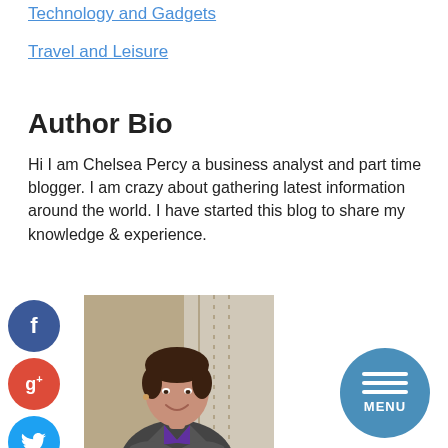Technology and Gadgets
Travel and Leisure
Author Bio
Hi I am Chelsea Percy a business analyst and part time blogger. I am crazy about gathering latest information around the world. I have started this blog to share my knowledge & experience.
[Figure (photo): Photo of Chelsea Percy, a woman in a grey blazer and purple shirt, arms crossed, smiling, standing outdoors near a building.]
[Figure (other): Menu button: circular teal button with three horizontal lines and 'MENU' text]